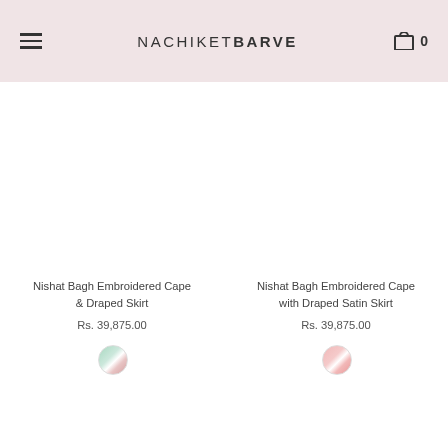NACHIKETBARVE
Nishat Bagh Embroidered Cape & Draped Skirt
Rs. 39,875.00
Nishat Bagh Embroidered Cape with Draped Satin Skirt
Rs. 39,875.00